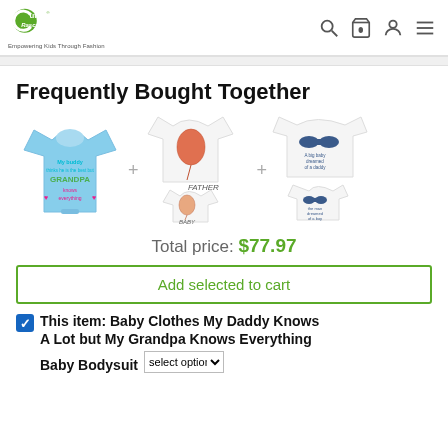Cute Rascals — Empowering Kids Through Fashion
Frequently Bought Together
[Figure (photo): Three product images shown side by side with plus signs between them: a light blue baby onesie with text 'My buddy thinks he is the best but Grandpa knows everything'; a white Father/Baby matching shirt set with balloon graphic; a white matching shirt set with daddy and baby mustache design.]
Total price: $77.97
Add selected to cart
This item: Baby Clothes My Daddy Knows A Lot but My Grandpa Knows Everything Baby Bodysuit